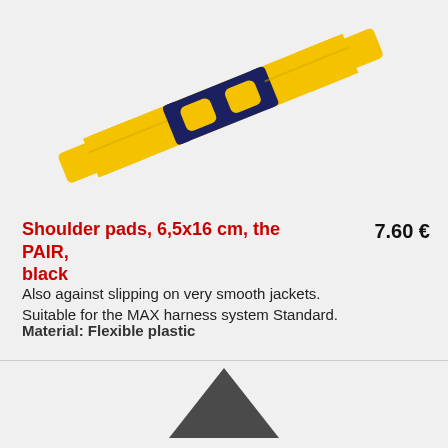[Figure (photo): Yellow and dark navy blue shoulder pad strap shown diagonally, product illustration]
Shoulder pads, 6,5x16 cm, the PAIR, black
7.60 €
Also against slipping on very smooth jackets.
Suitable for the MAX harness system Standard.
Material: Flexible plastic
[Figure (illustration): Dark gray triangle shape, top of a product image for the next item]